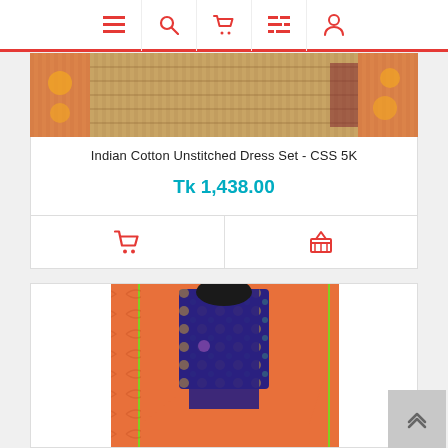Navigation bar with menu, search, cart, list, and profile icons
[Figure (photo): Indian Cotton Unstitched Dress Set product photo - striped fabric with orange border and floral design]
Indian Cotton Unstitched Dress Set - CSS 5K
Tk 1,438.00
[Figure (photo): Second product photo - orange and blue printed fabric on mannequin]